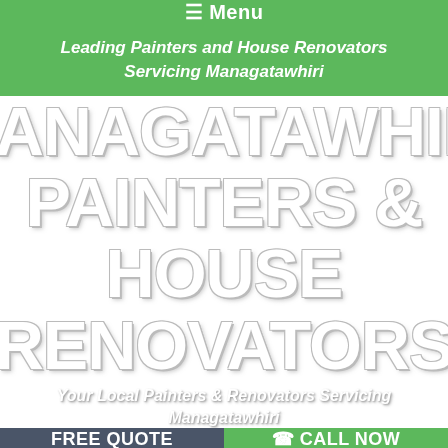☰ Menu
Leading Painters and House Renovators Servicing Managatawhiri
MANAGATAWHIRI PAINTERS & HOUSE RENOVATORS
Your Local Painters & Renovators Servicing Managatawhiri
FREE QUOTE   ☎ CALL NOW